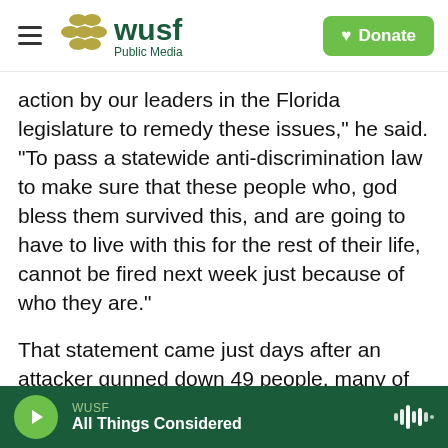WUSF Public Media — Donate
action by our leaders in the Florida legislature to remedy these issues," he said. "To pass a statewide anti-discrimination law to make sure that these people who, god bless them survived this, and are going to have to live with this for the rest of their life, cannot be fired next week just because of who they are."
That statement came just days after an attacker gunned down 49 people, many of them gay and Latino, at the Pulse Nightclub in Orlando. The attack illuminated the discrimination the LGBTQ community still faces. Employment, housing and
WUSF — All Things Considered